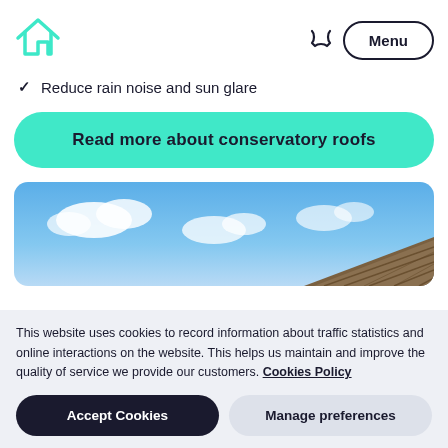[Figure (logo): Teal house outline logo]
Menu
Reduce rain noise and sun glare
Read more about conservatory roofs
[Figure (photo): Sky with clouds and roof tiles visible]
This website uses cookies to record information about traffic statistics and online interactions on the website. This helps us maintain and improve the quality of service we provide our customers. Cookies Policy
Accept Cookies
Manage preferences